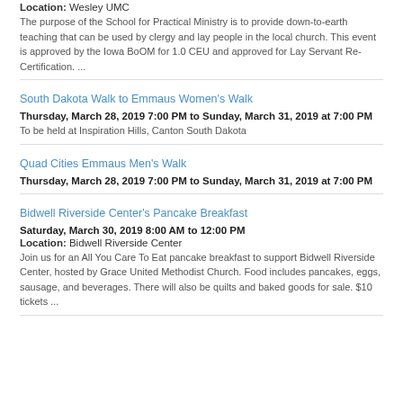Location: Wesley UMC
The purpose of the School for Practical Ministry is to provide down-to-earth teaching that can be used by clergy and lay people in the local church. This event is approved by the Iowa BoOM for 1.0 CEU and approved for Lay Servant Re-Certification. ...
South Dakota Walk to Emmaus Women's Walk
Thursday, March 28, 2019 7:00 PM to Sunday, March 31, 2019 at 7:00 PM
To be held at Inspiration Hills, Canton South Dakota
Quad Cities Emmaus Men's Walk
Thursday, March 28, 2019 7:00 PM to Sunday, March 31, 2019 at 7:00 PM
Bidwell Riverside Center's Pancake Breakfast
Saturday, March 30, 2019 8:00 AM to 12:00 PM
Location: Bidwell Riverside Center
Join us for an All You Care To Eat pancake breakfast to support Bidwell Riverside Center, hosted by Grace United Methodist Church. Food includes pancakes, eggs, sausage, and beverages. There will also be quilts and baked goods for sale. $10 tickets ...